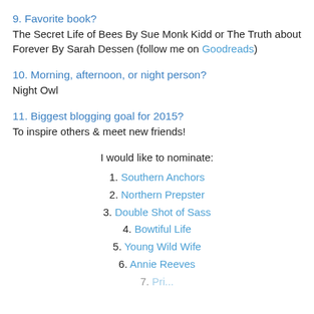9. Favorite book?
The Secret Life of Bees By Sue Monk Kidd or The Truth about Forever By Sarah Dessen (follow me on Goodreads)
10. Morning, afternoon, or night person?
Night Owl
11. Biggest blogging goal for 2015?
To inspire others & meet new friends!
I would like to nominate:
1. Southern Anchors
2. Northern Prepster
3. Double Shot of Sass
4. Bowtiful Life
5. Young Wild Wife
6. Annie Reeves
7. [partially visible]